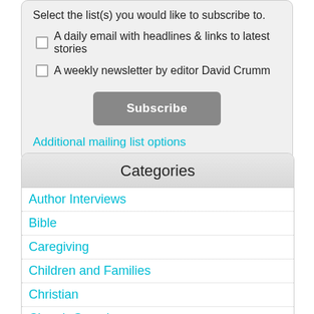Select the list(s) you would like to subscribe to.
A daily email with headlines & links to latest stories
A weekly newsletter by editor David Crumm
Subscribe
Additional mailing list options
Categories
Author Interviews
Bible
Caregiving
Children and Families
Christian
Church Growth
Creative Connections
Great With Groups
Holidays
Jewish